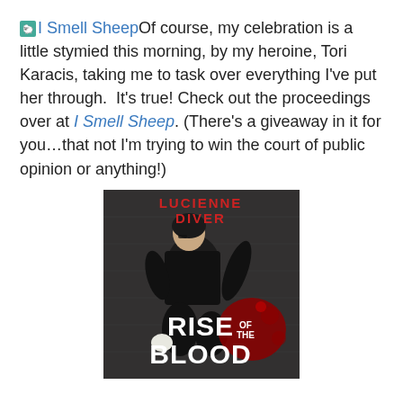[I Smell Sheep icon] I Smell SheepOf course, my celebration is a little stymied this morning, by my heroine, Tori Karacis, taking me to task over everything I've put her through.  It's true! Check out the proceedings over at I Smell Sheep. (There's a giveaway in it for you…that not I'm trying to win the court of public opinion or anything!)
[Figure (photo): Book cover for 'Rise of the Blood' by Lucienne Diver. A woman in dark clothing crouching in a combat-ready pose against a dark background. Author name 'LUCIENNE DIVER' in red at top, and title 'RISE OF THE BLOOD' in large white bold text at bottom with red blood splatter accent.]